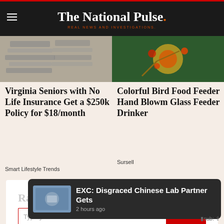The National Pulse. REAL NEWS AND INVESTIGATIONS.
[Figure (photo): Stacked newspapers, grayscale photo]
Virginia Seniors with No Life Insurance Get a $250k Policy for $18/month
Smart Lifestyle Trends
[Figure (photo): Colorful bird food feeder, green background with flowers]
Colorful Bird Food Feeder Hand Blowm Glass Feeder Drinker
Sursell
Raheem Kassam's Substack.
Type your email...
[Figure (photo): Person in lab coat and mask in laboratory setting]
EXC: Disgraced Chinese Lab Partner Gets
2 hours ago